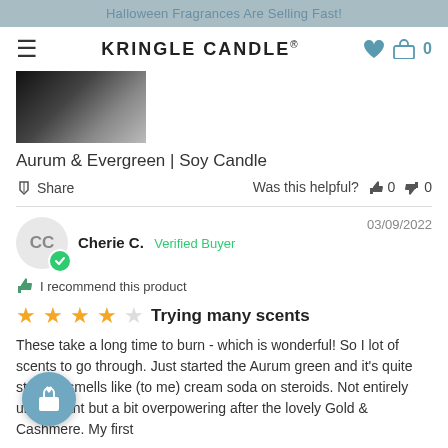Halloween Fragrances Are Selling Fast!
KRINGLE CANDLE®
[Figure (photo): Product image: dark gradient candle product photo thumbnail]
Aurum & Evergreen | Soy Candle
Share   Was this helpful?  👍 0  👎 0
Cherie C.  Verified Buyer   03/09/2022
👍 I recommend this product
★★★★☆ Trying many scents
These take a long time to burn - which is wonderful! So I lot of scents to go through. Just started the Aurum green and it's quite strong - smells like (to me) cream soda on steroids. Not entirely unpleasant but a bit overpowering after the lovely Gold & Cashmere. My first